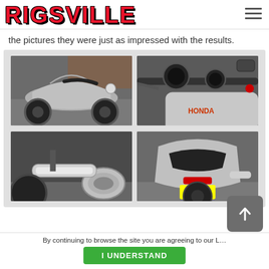RIGSVILLE
the pictures they were just as impressed with the results.
[Figure (photo): Grid of four motorcycle photos: top-left shows a full silver sport motorcycle parked on street; top-right shows motorcycle handlebar and instrument cluster close-up; bottom-left shows chrome exhaust pipe close-up; bottom-right shows rear view of silver motorcycle.]
By continuing to browse the site you are agreeing to our L... | I UNDERSTAND